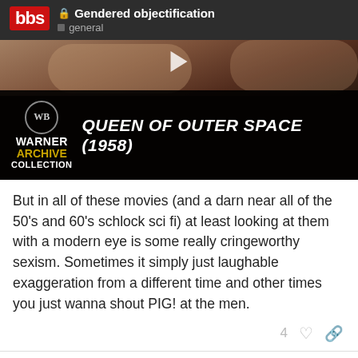Gendered objectification — general
[Figure (screenshot): Warner Archive Collection video thumbnail for Queen of Outer Space (1958) — black background with WB logo on left and movie title in white italic bold text. Play button visible at top center over faded film still.]
But in all of these movies (and a darn near all of the 50's and 60's schlock sci fi) at least looking at them with a modern eye is some really cringeworthy sexism. Sometimes it simply just laughable exaggeration from a different time and other times you just wanna shout PIG! at the men.
4
manybellsdown BBS Captain 450 / 656